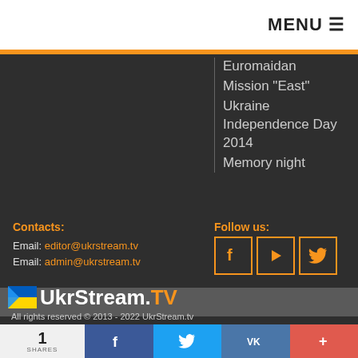MENU ☰
Euromaidan
Mission "East"
Ukraine Independence Day 2014
Memory night
Contacts:
Email: editor@ukrstream.tv
Email: admin@ukrstream.tv
Follow us:
[Figure (logo): UkrStream.TV logo with Ukrainian flag icon]
All rights reserved © 2013 - 2022 UkrStream.tv
1 SHARES
[Figure (infographic): Social share bar: Facebook (blue), Twitter (light blue), VK (steel blue), More (red-orange)]